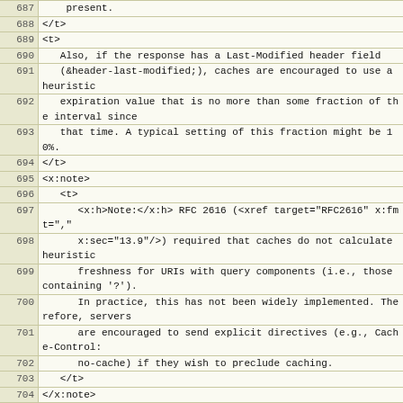| line | code |
| --- | --- |
| 687 |     present. |
| 688 | </t> |
| 689 | <t> |
| 690 |    Also, if the response has a Last-Modified header field |
| 691 |    (&header-last-modified;), caches are encouraged to use a heuristic |
| 692 |    expiration value that is no more than some fraction of the interval since |
| 693 |    that time. A typical setting of this fraction might be 10%. |
| 694 | </t> |
| 695 | <x:note> |
| 696 |    <t> |
| 697 |       <x:h>Note:</x:h> RFC 2616 (<xref target="RFC2616" x:fmt="," |
| 698 |       x:sec="13.9"/>) required that caches do not calculate heuristic |
| 699 |       freshness for URIs with query components (i.e., those containing '?'). |
| 700 |       In practice, this has not been widely implemented. Therefore, servers |
| 701 |       are encouraged to send explicit directives (e.g., Cache-Control: |
| 702 |       no-cache) if they wish to preclude caching. |
| 703 |    </t> |
| 704 | </x:note> |
| 705 | </section> |
| 706 | </section> |
| 707 |  |
| 708 | <section anchor="age.calculations" title="Calculating Age"> |
| 709 | <t> |
| 710 |    HTTP/1.1 uses the Age header field to convey the |